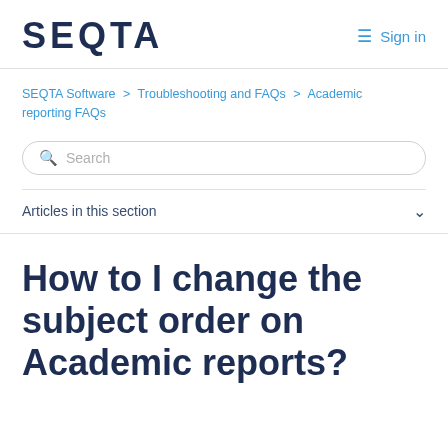SEQTA  Sign in
SEQTA Software > Troubleshooting and FAQs > Academic reporting FAQs
Search
Articles in this section
How to I change the subject order on Academic reports?